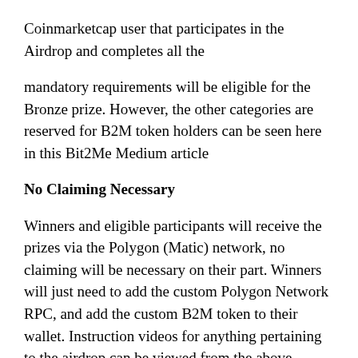Coinmarketcap user that participates in the Airdrop and completes all the
mandatory requirements will be eligible for the Bronze prize. However, the other categories are reserved for B2M token holders can be seen here in this Bit2Me Medium article
No Claiming Necessary
Winners and eligible participants will receive the prizes via the Polygon (Matic) network, no claiming will be necessary on their part. Winners will just need to add the custom Polygon Network RPC, and add the custom B2M token to their wallet. Instruction videos for anything pertaining to the airdrop can be viewed from the above Medium article.
The B2M token will be available on all winner addresses